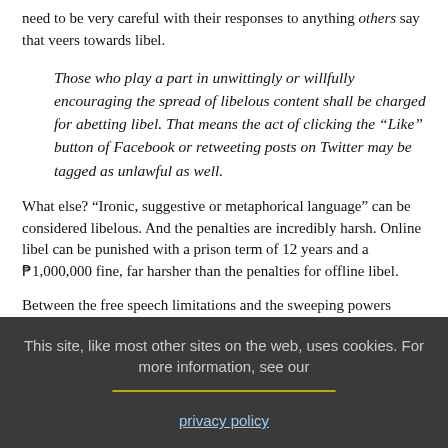need to be very careful with their responses to anything others say that veers towards libel.
Those who play a part in unwittingly or willfully encouraging the spread of libelous content shall be charged for abetting libel. That means the act of clicking the “Like” button of Facebook or retweeting posts on Twitter may be tagged as unlawful as well.
What else? “Ironic, suggestive or metaphorical language” can be considered libelous. And the penalties are incredibly harsh. Online libel can be punished with a prison term of 12 years and a ₱1,000,000 fine, far harsher than the penalties for offline libel.
Between the free speech limitations and the sweeping powers being granted to content creators and law enforcement, the new law is bad news all around. The DOJ will be meeting with stakeholders in
This site, like most other sites on the web, uses cookies. For more information, see our privacy policy
GOT IT